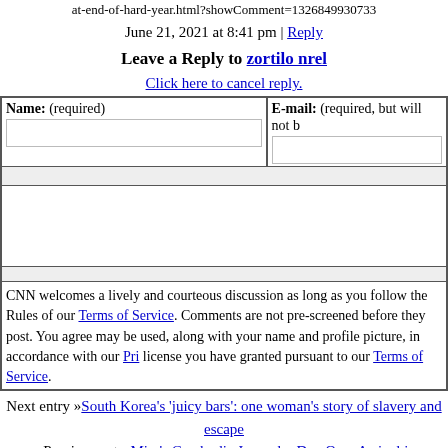at-end-of-hard-year.html?showComment=1326849930733
June 21, 2021 at 8:41 pm | Reply
Leave a Reply to zortilo nrel
Click here to cancel reply.
| Name: (required) | E-mail: (required, but will not be published) |
| --- | --- |
|  |
CNN welcomes a lively and courteous discussion as long as you follow the Rules of Conduct set forth in our Terms of Service. Comments are not pre-screened before they post. You agree that anything you post may be used, along with your name and profile picture, in accordance with our Privacy Policy and the license you have granted pursuant to our Terms of Service.
Next entry »South Korea's 'juicy bars': one woman's story of slavery and escape
« Previous entryMira's Cambodia Journal – Day One: Arrival in Cambodia